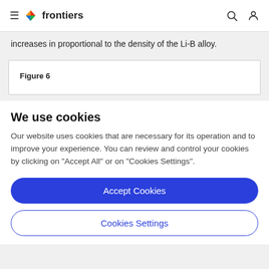frontiers
increases in proportional to the density of the Li-B alloy.
[Figure (other): Figure 6 placeholder box]
We use cookies
Our website uses cookies that are necessary for its operation and to improve your experience. You can review and control your cookies by clicking on "Accept All" or on "Cookies Settings".
Accept Cookies
Cookies Settings